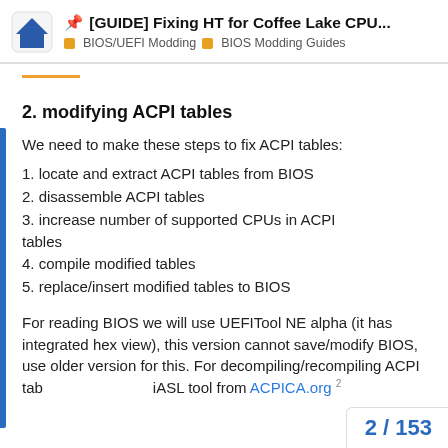📌 [GUIDE] Fixing HT for Coffee Lake CPU... | BIOS/UEFI Modding | BIOS Modding Guides
2. modifying ACPI tables
We need to make these steps to fix ACPI tables:
1. locate and extract ACPI tables from BIOS
2. disassemble ACPI tables
3. increase number of supported CPUs in ACPI tables
4. compile modified tables
5. replace/insert modified tables to BIOS
For reading BIOS we will use UEFITool NE alpha (it has integrated hex view), this version cannot save/modify BIOS, use older version for this. For decompiling/recompiling ACPI tab iASL tool from ACPICA.org 2
2 / 153